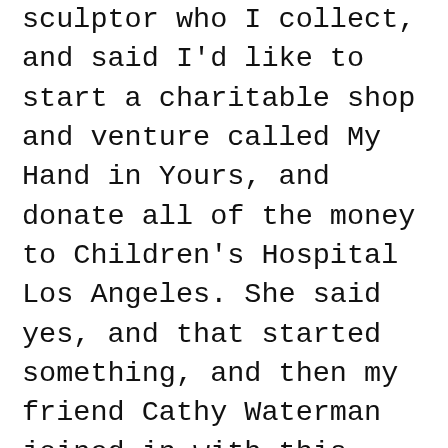sculptor who I collect, and said I'd like to start a charitable shop and venture called My Hand in Yours, and donate all of the money to Children's Hospital Los Angeles. She said yes, and that started something, and then my friend Cathy Waterman joined in with this beautiful hand necklace, and we added more items and it kept growing. I've learned the power of daytime television, because I have appeared on The Talk and The View and Kelly Clarkson, and those have generated thousands of orders. By the time this comes out, I think we will have made $000,000 in profits.